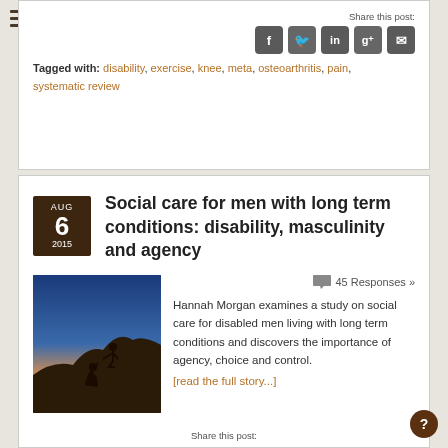Share this post:
Tagged with: disability, exercise, knee, meta, osteoarthritis, pain, systematic review
Social care for men with long term conditions: disability, masculinity and agency
[Figure (photo): Silhouette of two people climbing a rocky hill at sunset/dusk, one reaching down to help the other climb up]
45 Responses »
Hannah Morgan examines a study on social care for disabled men living with long term conditions and discovers the importance of agency, choice and control.
[read the full story...]
Share this post: